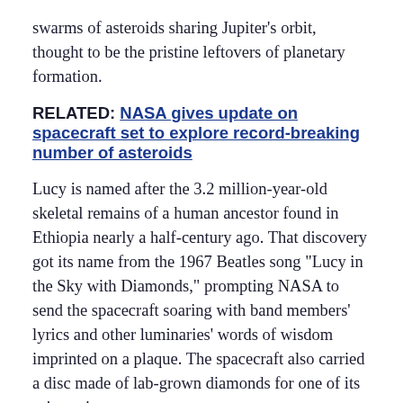swarms of asteroids sharing Jupiter's orbit, thought to be the pristine leftovers of planetary formation.
RELATED: NASA gives update on spacecraft set to explore record-breaking number of asteroids
Lucy is named after the 3.2 million-year-old skeletal remains of a human ancestor found in Ethiopia nearly a half-century ago. That discovery got its name from the 1967 Beatles song "Lucy in the Sky with Diamonds," prompting NASA to send the spacecraft soaring with band members' lyrics and other luminaries' words of wisdom imprinted on a plaque. The spacecraft also carried a disc made of lab-grown diamonds for one of its science instruments.
Lucy's $981 million mission is the first to aim for